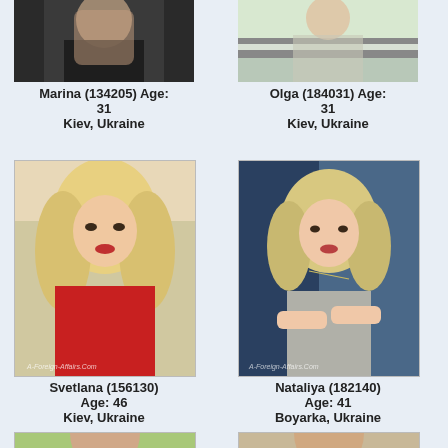[Figure (photo): Photo of Marina, partially visible torso in dark top]
Marina (134205) Age: 31
Kiev, Ukraine
[Figure (photo): Photo of Olga, partially visible in striped top]
Olga (184031) Age: 31
Kiev, Ukraine
[Figure (photo): Photo of Svetlana, blonde hair, red outfit, watermark A-Foreign-Affairs.Com]
Svetlana (156130)
Age: 46
Kiev, Ukraine
[Figure (photo): Photo of Nataliya, blonde hair, patterned top, watermark A-Foreign-Affairs.Com]
Nataliya (182140)
Age: 41
Boyarka, Ukraine
[Figure (photo): Photo of person with dark hair, partial view at bottom]
[Figure (photo): Photo of person with reddish-brown hair, partial view at bottom]